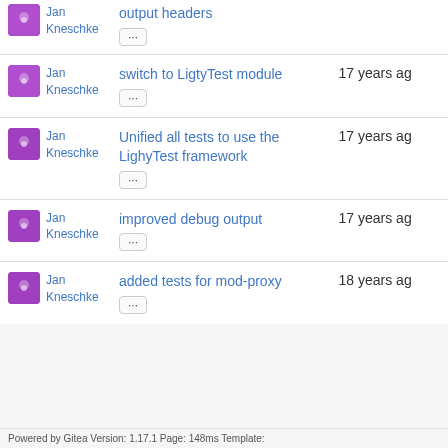| Author | Commit Message | Time |
| --- | --- | --- |
| Jan Kneschke | output headers ... |  |
| Jan Kneschke | switch to LigtyTest module ... | 17 years ago |
| Jan Kneschke | Unified all tests to use the LighyTest framework ... | 17 years ago |
| Jan Kneschke | improved debug output ... | 17 years ago |
| Jan Kneschke | added tests for mod-proxy ... | 18 years ago |
Powered by Gitea Version: 1.17.1 Page: 148ms Template: